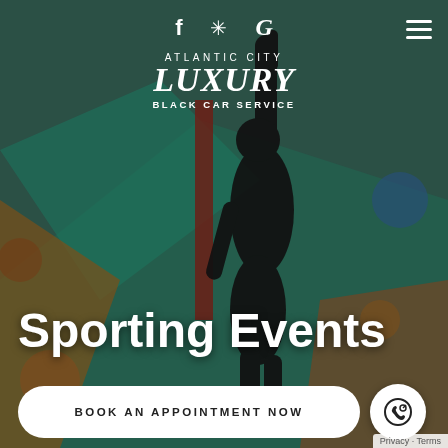[Figure (photo): Blurred background photo of a basketball court with teal/green floor markings and colorful elements, with a silhouette of a person raising their hand/finger in the foreground]
f ✿ G
ATLANTIC CITY LUXURY BLACK CAR SERVICE
Sporting Events
BOOK AN APPOINTMENT NOW
Privacy · Terms